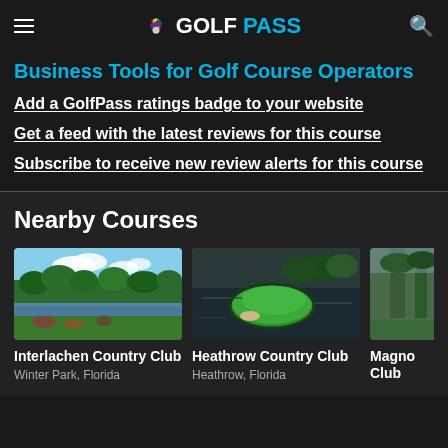GOLFPASS
Business Tools for Golf Course Operators
Add a GolfPass ratings badge to your website
Get a feed with the latest reviews for this course
Subscribe to receive new review alerts for this course
Nearby Courses
[Figure (photo): Golf course photo - Interlachen Country Club, lake and green landscape]
Interlachen Country Club
Winter Park, Florida
[Figure (photo): Golf course photo - Heathrow Country Club, island green with water surrounding it]
Heathrow Country Club
Heathrow, Florida
[Figure (photo): Partial golf course photo - Magnolia Club]
Magnolia Club